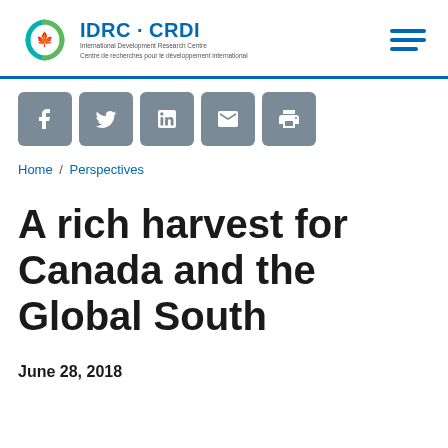IDRC · CRDI — International Development Research Centre / Centre de recherches pour le développement international
[Figure (logo): IDRC CRDI logo with diamond/leaf icon and bilingual text]
[Figure (infographic): Social media sharing icons: Facebook, Twitter, LinkedIn, Email, Print]
Home / Perspectives
A rich harvest for Canada and the Global South
June 28, 2018